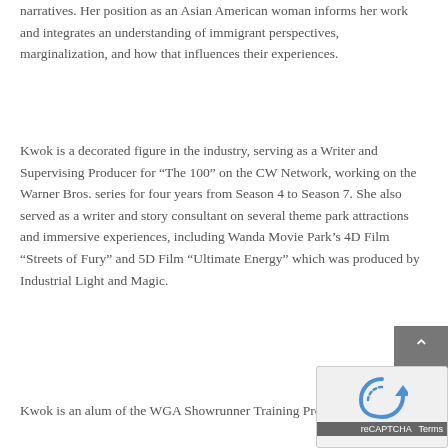narratives. Her position as an Asian American woman informs her work and integrates an understanding of immigrant perspectives, marginalization, and how that influences their experiences.
Kwok is a decorated figure in the industry, serving as a Writer and Supervising Producer for “The 100” on the CW Network, working on the Warner Bros. series for four years from Season 4 to Season 7. She also served as a writer and story consultant on several theme park attractions and immersive experiences, including Wanda Movie Park’s 4D Film “Streets of Fury” and 5D Film “Ultimate Energy” which was produced by Industrial Light and Magic.
Kwok is an alum of the WGA Showrunner Training Program